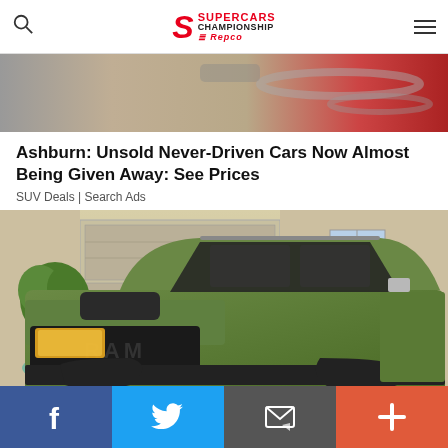SUPERCARS CHAMPIONSHIP Repco
[Figure (photo): Top partial image strip showing automotive/racing car parts with red and grey tones]
Ashburn: Unsold Never-Driven Cars Now Almost Being Given Away: See Prices
SUV Deals | Search Ads
[Figure (photo): Green matte RAM TRX pickup truck parked in front of a garage/house, front three-quarter view with large off-road tires]
Facebook | Twitter | Email | Plus